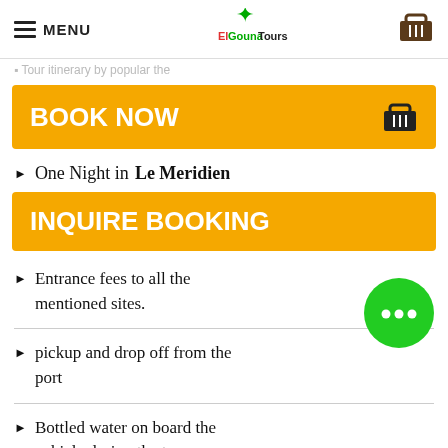MENU | ElGouna Tours
One Night in Le Meridien
BOOK NOW
INQUIRE BOOKING
Entrance fees to all the mentioned sites.
pickup and drop off from the port
Bottled water on board the vehicle during the tour
Lunch meals during the tour